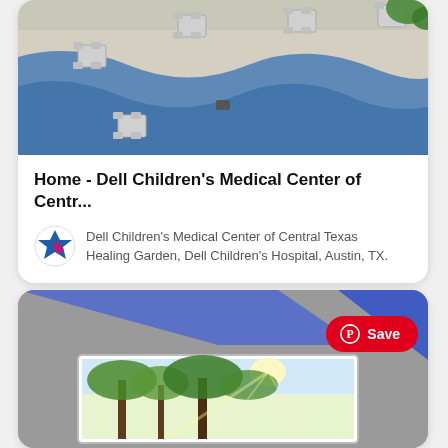[Figure (photo): Aerial view of a hospital healing garden courtyard with blue wave-pattern flooring, white chairs and tables, and greenery]
Home - Dell Children's Medical Center of Centr...
[Figure (logo): Dell Children's Medical Center logo - blue and pink star shape]
Dell Children's Medical Center of Central Texas
Healing Garden, Dell Children's Hospital, Austin, TX.
[Figure (photo): Interior hospital room with blue accent lighting on ceiling and a framed print of sunlit trees on the wall]
Save